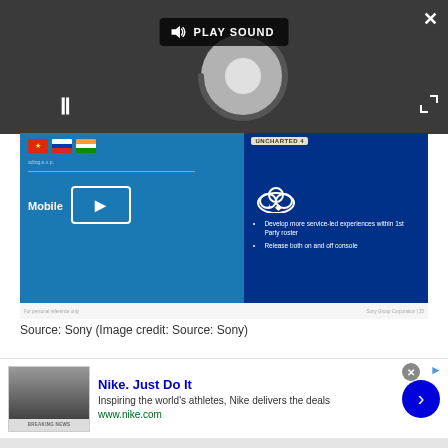[Figure (screenshot): Video player overlay with dark gray background showing a PLAY SOUND button, pause icon, spinning loading circle, close (X) button, and expand button]
[Figure (screenshot): Sony presentation slide screenshot showing a blue slide with flags (China, Russia, India), UNCHARTED 4 badge, Mobile section with PlayStation device icon, cloud gaming icons on right side, and bullet points: Develop more service-led experiences within 1st Party roster; Release both on and off console]
Source: Sony (Image credit: Source: Sony)
[Figure (screenshot): Nike advertisement banner: Nike. Just Do It - Inspiring the world's athletes, Nike delivers the deals - www.nike.com - with thumbnail image and blue arrow button]